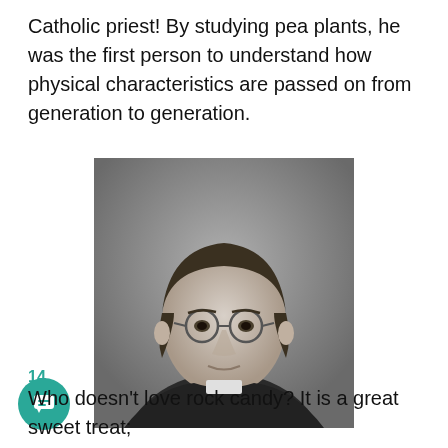Catholic priest! By studying pea plants, he was the first person to understand how physical characteristics are passed on from generation to generation.
[Figure (photo): Black and white portrait photograph of Gregor Mendel, a man wearing glasses and clerical collar with dark jacket.]
14
Who doesn't love rock candy? It is a great sweet treat;